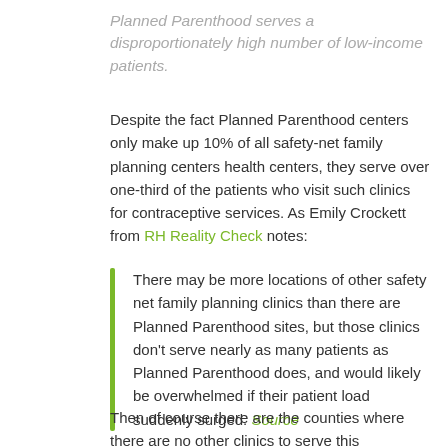Planned Parenthood serves a disproportionately high number of low-income patients.
Despite the fact Planned Parenthood centers only make up 10% of all safety-net family planning centers health centers, they serve over one-third of the patients who visit such clinics for contraceptive services. As Emily Crockett from RH Reality Check notes:
There may be more locations of other safety net family planning clinics than there are Planned Parenthood sites, but those clinics don't serve nearly as many patients as Planned Parenthood does, and would likely be overwhelmed if their patient load suddenly surged. Source
Then of course there are the counties where there are no other clinics to serve this population. Defunding Planned Parenthood would leave nearly 103 counties...